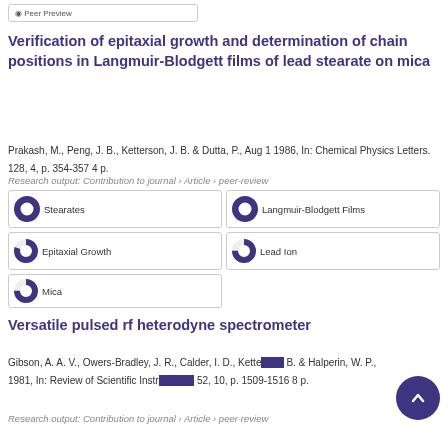Peer Preview
Verification of epitaxial growth and determination of chain positions in Langmuir-Blodgett films of lead stearate on mica
Prakash, M., Peng, J. B., Ketterson, J. B. & Dutta, P., Aug 1 1986, In: Chemical Physics Letters. 128, 4, p. 354-357 4 p.
Research output: Contribution to journal › Article › peer-review
100% Stearates | 100% Langmuir-Blodgett Films | 80% Epitaxial Growth | 75% Lead Ion | 75% Mica
Versatile pulsed rf heterodyne spectrometer
Gibson, A. A. V., Owers-Bradley, J. R., Calder, I. D., Ketterson, B. & Halperin, W. P., 1981, In: Review of Scientific Instruments. 52, 10, p. 1509-1516 8 p.
Research output: Contribution to journal › Article › peer-review